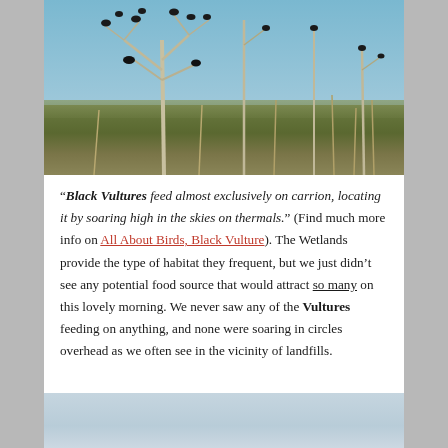[Figure (photo): Flock of Black Vultures perched on bare dead trees in a wetland/grassland landscape under a clear blue sky]
“Black Vultures feed almost exclusively on carrion, locating it by soaring high in the skies on thermals.” (Find much more info on All About Birds, Black Vulture). The Wetlands provide the type of habitat they frequent, but we just didn’t see any potential food source that would attract so many on this lovely morning. We never saw any of the Vultures feeding on anything, and none were soaring in circles overhead as we often see in the vicinity of landfills.
[Figure (photo): Partial view of sky, light blue-grey gradient, bottom of page]